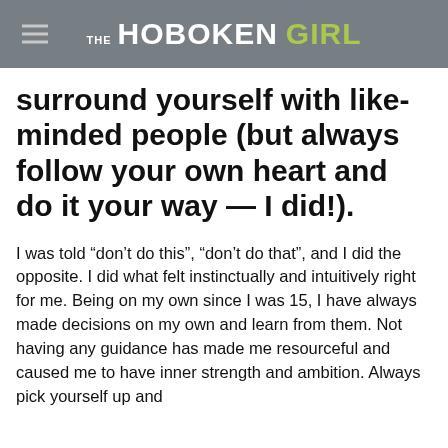THE HOBOKEN GIRL
surround yourself with like-minded people (but always follow your own heart and do it your way — I did!).
I was told “don’t do this”, “don’t do that”, and I did the opposite. I did what felt instinctually and intuitively right for me. Being on my own since I was 15, I have always made decisions on my own and learn from them. Not having any guidance has made me resourceful and caused me to have inner strength and ambition. Always pick yourself up and